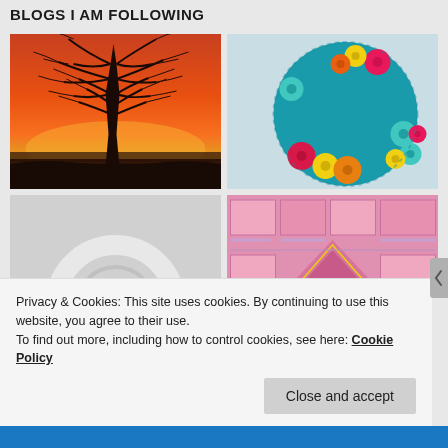BLOGS I AM FOLLOWING
[Figure (photo): Silhouette of a bare tree against a vivid orange and red sunset sky with a dark landscape in the foreground]
[Figure (photo): Circular teal/turquoise crochet piece decorated with colorful crocheted daisy flowers in pink, yellow, orange, and teal arranged around the edge on a white background]
[Figure (photo): Light gray background with a partial circular white/gray logo or icon visible]
[Figure (photo): Pink and mauve fabric or quilted piece with geometric triangular pattern and glittery accents, showing rectangles and triangle shapes]
Privacy & Cookies: This site uses cookies. By continuing to use this website, you agree to their use.
To find out more, including how to control cookies, see here: Cookie Policy
Close and accept